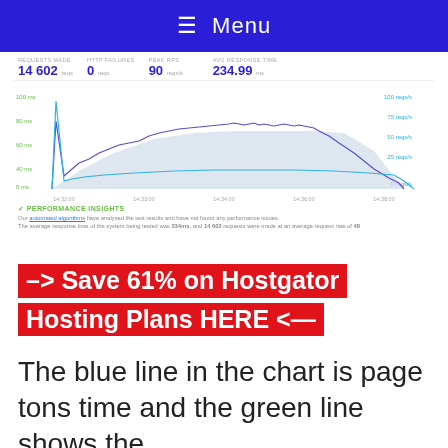≡ Menu
[Figure (screenshot): Screenshot of a web performance test dashboard showing stats: REQUESTS MADE 14 602 reqs, HTTP FAILURES 0 reqs, PEAK RPS 90 reqs/s, AVG RESPONSE TIME 234.99 ms. Below is a line/area chart with a blue line (response time) peaking early then a large gray filled area and a blue/purple jagged line for RPS over time from 14:32:00 to 14:38:00. Below the chart is a Performance Insights section with green checkmark icon and text about automated algorithms finding no performance issues, average response time 234ms, 14 602 requests at average rate of 48.]
–> Save 61% on Hostgator Hosting Plans HERE <—
The blue line in the chart is page tons time and the green line shows the